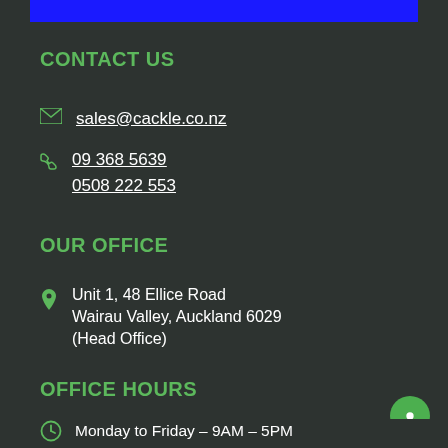[Figure (other): Blue horizontal bar at top]
CONTACT US
sales@cackle.co.nz
09 368 5639
0508 222 553
OUR OFFICE
Unit 1, 48 Ellice Road
Wairau Valley, Auckland 6029
(Head Office)
OFFICE HOURS
Monday to Friday – 9AM – 5PM
Saturday to Sunday – Closed
CONNECT WITH US